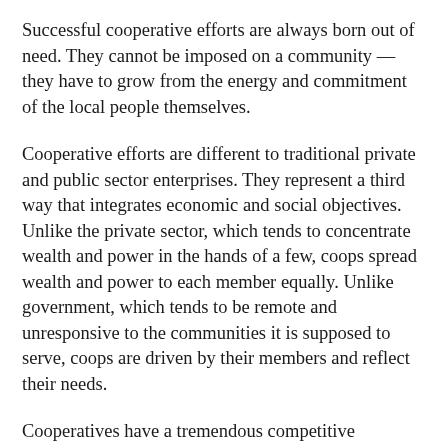Successful cooperative efforts are always born out of need. They cannot be imposed on a community — they have to grow from the energy and commitment of the local people themselves.
Cooperative efforts are different to traditional private and public sector enterprises. They represent a third way that integrates economic and social objectives. Unlike the private sector, which tends to concentrate wealth and power in the hands of a few, coops spread wealth and power to each member equally. Unlike government, which tends to be remote and unresponsive to the communities it is supposed to serve, coops are driven by their members and reflect their needs.
Cooperatives have a tremendous competitive advantage over both private enterprises and public enterprises: coop members have a personal interest in their coop's success. The members own the coop, so they are more likely to buy the coop's goods or use its services. Shares in cooperatives are not